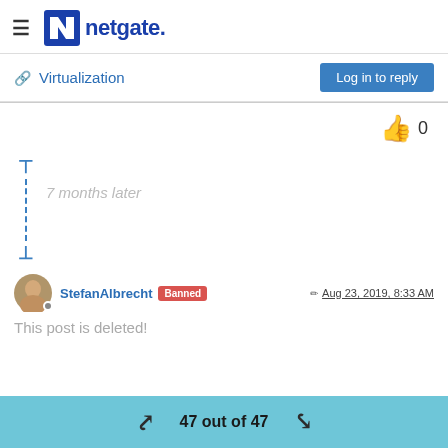netgate.
Virtualization
7 months later
StefanAlbrecht Banned  Aug 23, 2019, 8:33 AM
This post is deleted!
47 out of 47